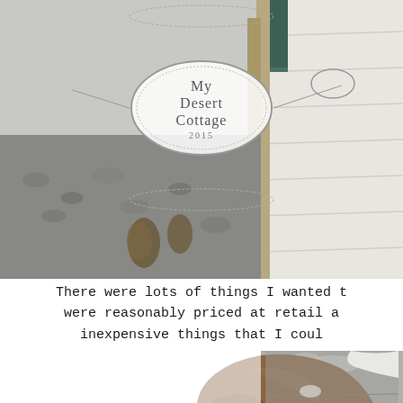[Figure (photo): Photo showing rustic white painted wood planks with a decorative oval logo reading 'My Desert Cottage 2015' overlaid in the center, with some pine cones and small stones visible in the lower left.]
There were lots of things I wanted t were reasonably priced at retail a inexpensive things that I coul
[Figure (photo): Close-up photo of a worn brown leather cowboy boot resting on white fabric/cloth, with a concrete or stone wall background.]